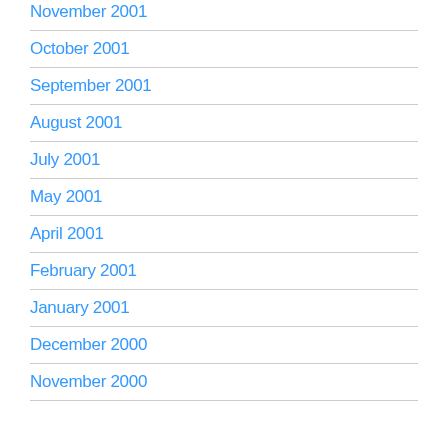November 2001
October 2001
September 2001
August 2001
July 2001
May 2001
April 2001
February 2001
January 2001
December 2000
November 2000